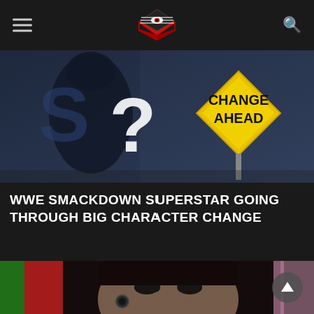Wrestling news website header with hamburger menu, logo, and search icon
[Figure (photo): Dark blurred wrestling image with a question mark figure and a yellow diamond-shaped 'CHANGE AHEAD' road sign overlay]
WWE SMACKDOWN SUPERSTAR GOING THROUGH BIG CHARACTER CHANGE
[Figure (photo): Close-up photo of a female WWE superstar with heavy gothic makeup, large ear gauges, dark hair pulled back, against a colorful background]